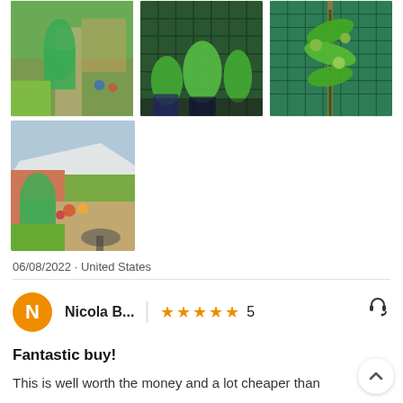[Figure (photo): Three garden photos in a row: left shows a green polytunnel greenhouse in a garden, center shows close-up of plants in a green mesh polytunnel, right shows tomato plants growing inside a green mesh tunnel]
[Figure (photo): A fourth garden photo showing a green polytunnel greenhouse in a backyard garden with patio furniture]
06/08/2022 · United States
Nicola B...  ★★★★★  5
Fantastic buy!
This is well worth the money and a lot cheaper than